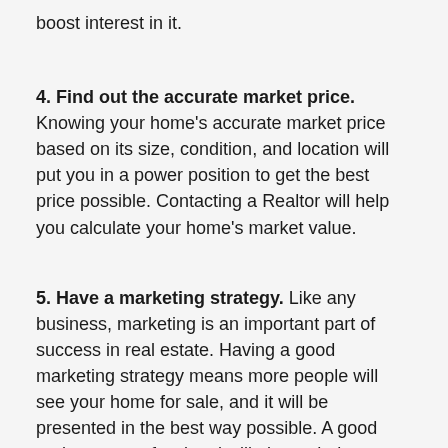boost interest in it.
4. Find out the accurate market price. Knowing your home's accurate market price based on its size, condition, and location will put you in a power position to get the best price possible. Contacting a Realtor will help you calculate your home's market value.
5. Have a marketing strategy. Like any business, marketing is an important part of success in real estate. Having a good marketing strategy means more people will see your home for sale, and it will be presented in the best way possible. A good real estate professional will always help you implement a marketing strategy that takes into account your specific home's features.